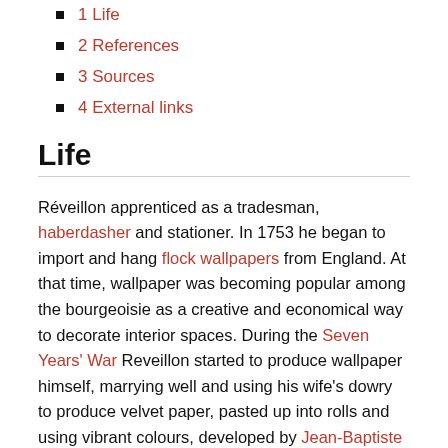1 Life
2 References
3 Sources
4 External links
Life
Réveillon apprenticed as a tradesman, haberdasher and stationer. In 1753 he began to import and hang flock wallpapers from England. At that time, wallpaper was becoming popular among the bourgeoisie as a creative and economical way to decorate interior spaces. During the Seven Years' War Reveillon started to produce wallpaper himself, marrying well and using his wife's dowry to produce velvet paper, pasted up into rolls and using vibrant colours, developed by Jean-Baptiste Pillement.
[Figure (other): Language widget showing Netherlands flag and 'Nederlands' text on dark rounded background]